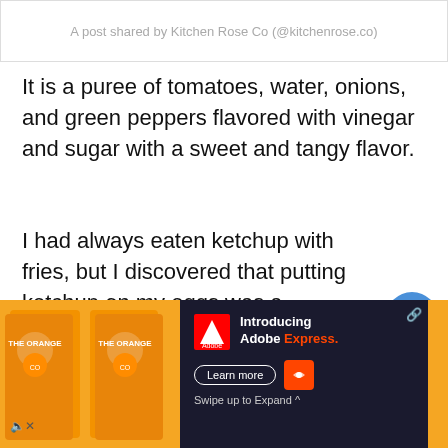A post shared by Kitchen Rose Co (@kitchenrose.co)
It is a puree of tomatoes, water, onions, and green peppers flavored with vinegar and sugar with a sweet and tangy flavor.
I had always eaten ketchup with fries, but I discovered that putting ketchup on my eggs was a delightful flavor combination.
[Figure (screenshot): UI elements: heart button (blue circle with heart icon), share button (white circle with share icon), 'WHAT'S NEXT' card showing Dunkin Donuts thumbnail and text 'Top Iced Coffee Drink...']
[Figure (screenshot): Adobe Express advertisement overlay on dark background with orange side strip, showing 'Introducing Adobe Express.' with Learn more button and Swipe up to Expand text. Close and link icons visible.]